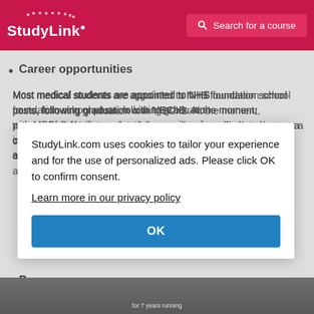StudyLink  Search for a course
Career opportunities
Most medical students are appointed to NHS foundation school posts, following graduation with MBChB. At the moment, possession of an intercalated degree places medical students at a competitive advantage in the foundation post applications process. There are also opportunities to pursue postgraduate training pathways, particularly in academic medicine, and to work abroad.
StudyLink.com uses cookies to tailor your experience and for the use of personalized ads. Please click OK to confirm consent. Learn more in our privacy policy
P...